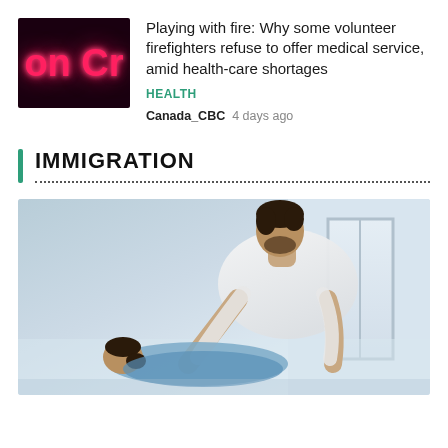[Figure (photo): Thumbnail image showing neon pink text 'on Cr' on a dark background, partial text visible]
Playing with fire: Why some volunteer firefighters refuse to offer medical service, amid health-care shortages
HEALTH
Canada_CBC  4 days ago
IMMIGRATION
[Figure (photo): Photo of a male physical therapist or healthcare worker in a white t-shirt bending over and treating or examining a female patient, bright clinical or gym setting with windows in the background]